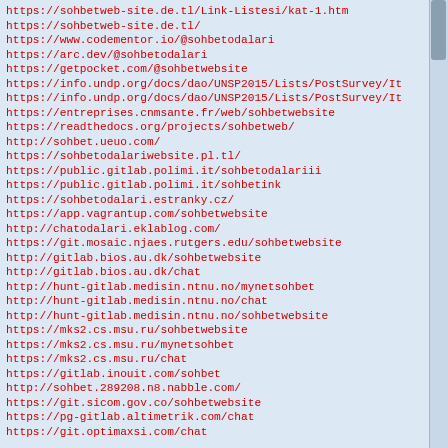https://sohbetweb-site.de.tl/Link-Listesi/kat-1.htm
https://sohbetweb-site.de.tl/
https://www.codementor.io/@sohbetodalari
https://arc.dev/@sohbetodalari
https://getpocket.com/@sohbetwebsite
https://info.undp.org/docs/dao/UNSP2015/Lists/PostSurvey/It
https://info.undp.org/docs/dao/UNSP2015/Lists/PostSurvey/It
https://entreprises.cnmsante.fr/web/sohbetwebsite
https://readthedocs.org/projects/sohbetweb/
http://sohbet.ueuo.com/
https://sohbetodalariwebsite.pl.tl/
https://public.gitlab.polimi.it/sohbetodalariii
https://public.gitlab.polimi.it/sohbetink
https://sohbetodalari.estranky.cz/
https://app.vagrantup.com/sohbetwebsite
http://chatodalari.eklablog.com/
https://git.mosaic.njaes.rutgers.edu/sohbetwebsite
http://gitlab.bios.au.dk/sohbetwebsite
http://gitlab.bios.au.dk/chat
http://hunt-gitlab.medisin.ntnu.no/mynetsohbet
http://hunt-gitlab.medisin.ntnu.no/chat
http://hunt-gitlab.medisin.ntnu.no/sohbetwebsite
https://mks2.cs.msu.ru/sohbetwebsite
https://mks2.cs.msu.ru/mynetsohbet
https://mks2.cs.msu.ru/chat
https://gitlab.inouit.com/sohbet
http://sohbet.289208.n8.nabble.com/
https://git.sicom.gov.co/sohbetwebsite
https://pg-gitlab.altimetrik.com/chat
https://git.optimaxsi.com/chat